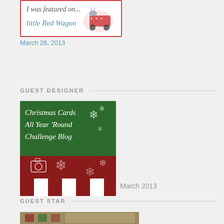[Figure (illustration): Badge image: 'I was featured on... Little Red Wagon' with cartoon red wagon and donkey/goat character on white background with red border]
March 26, 2013
GUEST DESIGNER
[Figure (illustration): Christmas Cards All Year 'Round Challenge Blog badge with green top section showing snowflakes and text, red middle stripe with camera icon and snowflakes, and red/white vertical stripes at bottom]
March 2013
GUEST STAR
[Figure (photo): Partial photo at bottom of page, appears to show holiday/Christmas themed image, only top portion visible]